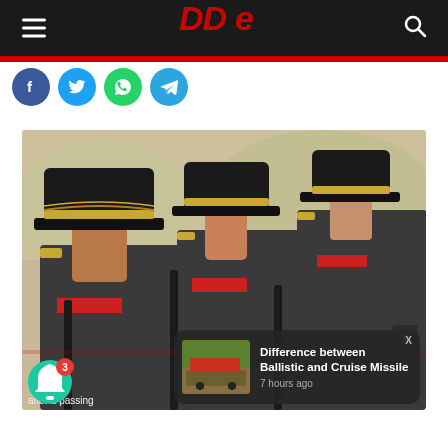DDE
[Figure (illustration): Social media sharing icons: Facebook (blue), Twitter (light blue), WhatsApp (green), Telegram (blue) as circular buttons]
[Figure (photo): Three Indian military officers in profile view wearing dark service dress caps with gold braid, standing at attention during a passing out parade]
after a passing
Difference between Ballistic and Cruise Missile
7 hours ago